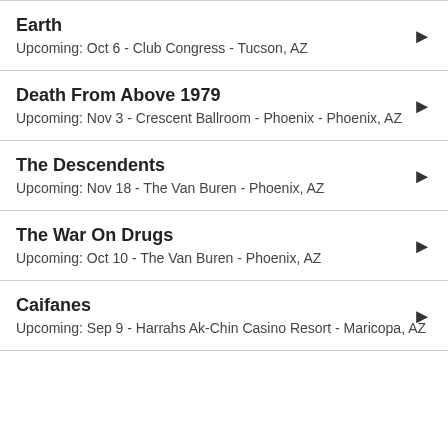Earth
Upcoming: Oct 6 - Club Congress - Tucson, AZ
Death From Above 1979
Upcoming: Nov 3 - Crescent Ballroom - Phoenix - Phoenix, AZ
The Descendents
Upcoming: Nov 18 - The Van Buren - Phoenix, AZ
The War On Drugs
Upcoming: Oct 10 - The Van Buren - Phoenix, AZ
Caifanes
Upcoming: Sep 9 - Harrahs Ak-Chin Casino Resort - Maricopa, AZ